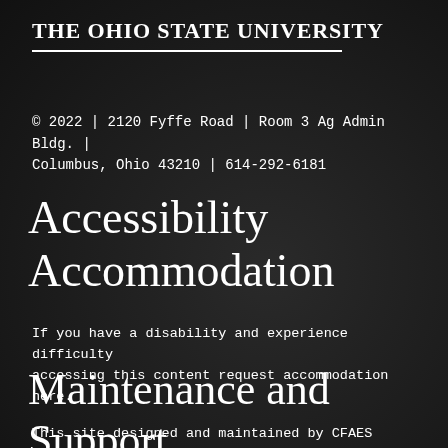The Ohio State University
© 2022 | 2120 Fyffe Road | Room 3 Ag Admin Bldg. | Columbus, Ohio 43210 | 614-292-6181
Accessibility Accommodation
If you have a disability and experience difficulty accessing this content request accommodation here.
Maintenance and Support
This site designed and maintained by CFAES Marketing and Communications. For technical support please